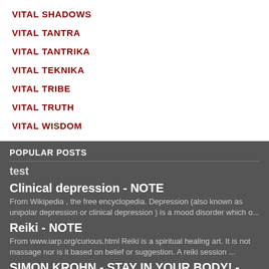VITAL SHADOWS
VITAL TANTRA
VITAL TANTRIKA
VITAL TEKNIKA
VITAL TRIBE
VITAL TRUTH
VITAL WISDOM
POPULAR POSTS
test
Clinical depression - NOTE
From Wikipedia , the free encyclopedia. Depression (also known as unipolar depression or clinical depression ) is a mood disorder which o...
Reiki - NOTE
From www.iarp.org/curious.html Reiki is a spiritual healing art. It is not massage nor is it based on belief or suggestion. A reiki session ...
SIMON KROHN - STAY IN YOUR BODY! - ANGSBACKA 2013
SAMAGHA
SAMAGHA is another term I used till now for TRIBE I used the expression SURYA SAMAGHA for SOLAR TRIBE which is an energy that started with...